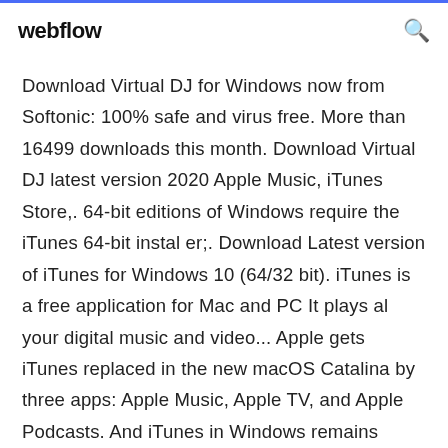webflow
Download Virtual DJ for Windows now from Softonic: 100% safe and virus free. More than 16499 downloads this month. Download Virtual DJ latest version 2020 Apple Music, iTunes Store,. 64-bit editions of Windows require the iTunes 64-bit instal er;. Download Latest version of iTunes for Windows 10 (64/32 bit). iTunes is a free application for Mac and PC It plays al your digital music and video... Apple gets iTunes replaced in the new macOS Catalina by three apps: Apple Music, Apple TV, and Apple Podcasts. And iTunes in Windows remains unchanged. If you get used to the all-in-one